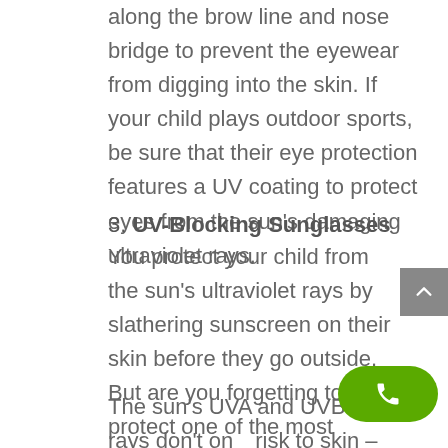along the brow line and nose bridge to prevent the eyewear from digging into the skin. If your child plays outdoor sports, be sure that their eye protection features a UV coating to protect eyes from the sun's damaging ultraviolet rays.
3. UV-Blocking Sunglasses
You protect your child from the sun's ultraviolet rays by slathering sunscreen on their skin before they go outside. But are you forgetting to protect one of the most critical body parts from the sun's damaging UV rays?
The sun's UVA and UVB rays don't only risk to skin – they can also burn your eyes.